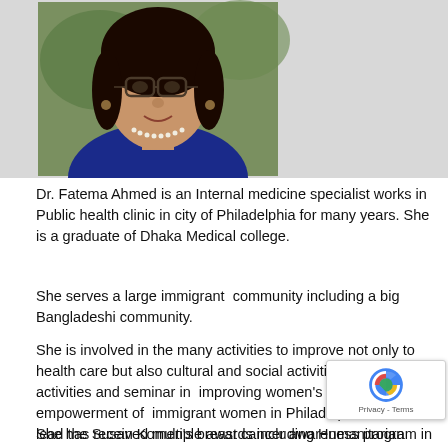[Figure (photo): Portrait photo of Dr. Fatema Ahmed, a woman wearing glasses, a blue outfit, pearl necklace, with green foliage in the background.]
Dr. Fatema Ahmed is an Internal medicine specialist works in Public health clinic in city of Philadelphia for many years. She is a graduate of Dhaka Medical college.
She serves a large immigrant  community including a big Bangladeshi community.
She is involved in the many activities to improve not only to health care but also cultural and social activities. She lead the activities and seminar in  improving women's health and empowerment of  immigrant women in Philadelphia. She also lead the Susan Komen's breast cancer awareness program in Bangladeshi community in grater  Philadelphia.
She has received multiple awards including Humanitarian award by District and internationally. She has visited the...